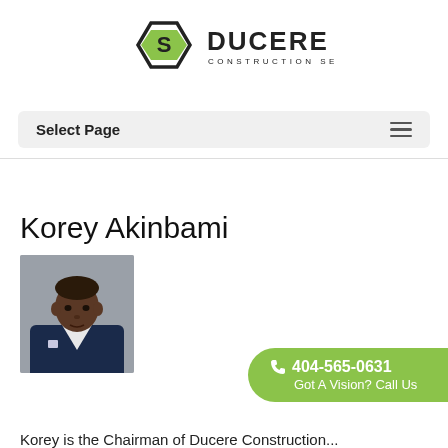[Figure (logo): Ducere Construction Services logo — hexagon icon with letter S inside, next to text DUCERE CONSTRUCTION SERVICES]
Select Page
Korey Akinbami
[Figure (photo): Professional headshot of Korey Akinbami in a dark navy suit with white dress shirt]
404-565-0631 Got A Vision? Call Us
Korey is the Chairman of Ducere Construction...